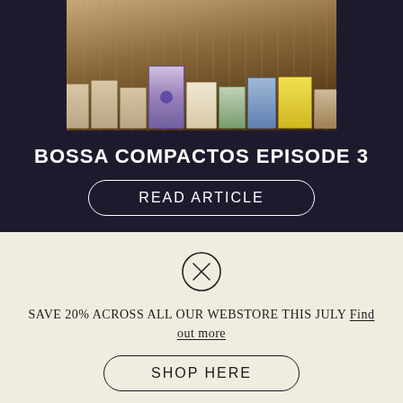[Figure (photo): Photo of vinyl record sleeves/compactos displayed on a wooden shelf or crate, showing multiple record covers including one with a purple label and others in cream, blue, and yellow colors, against a dark background.]
BOSSA COMPACTOS EPISODE 3
READ ARTICLE
[Figure (other): X (close/cancel) icon inside a circle, decorative separator element]
SAVE 20% ACROSS ALL OUR WEBSTORE THIS JULY Find out more
SHOP HERE